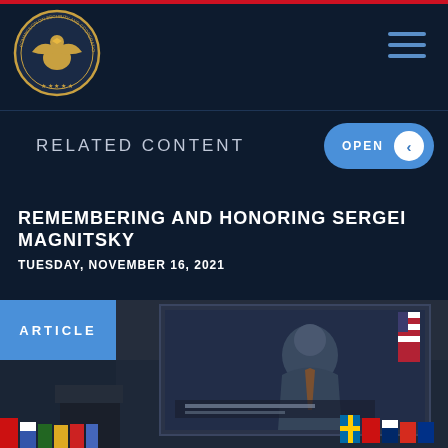Commission on Security and Cooperation in Europe
RELATED CONTENT
REMEMBERING AND HONORING SERGEI MAGNITSKY
TUESDAY, NOVEMBER 16, 2021
ARTICLE
[Figure (photo): Photo of a conference room with a projection screen showing a person speaking, with an American flag visible, and international flags displayed along the bottom of the image.]